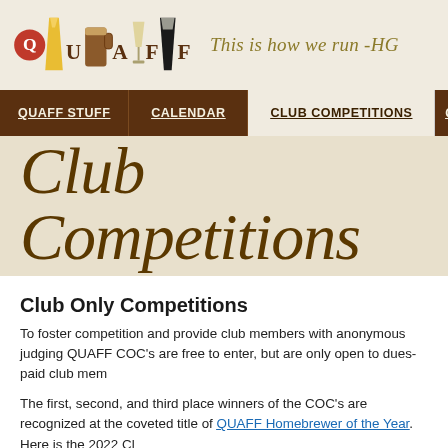[Figure (logo): QUAFF homebrewing club logo with beer glasses and letters Q, U, A, F, F]
This is how we run -HG
QUAFF STUFF | CALENDAR | CLUB COMPETITIONS | Q...
Club Competitions
Club Only Competitions
To foster competition and provide club members with anonymous judging QUAFF COC's are free to enter, but are only open to dues-paid club mem...
The first, second, and third place winners of the COC's are recognized at the coveted title of QUAFF Homebrewer of the Year. Here is the 2022 Cl...